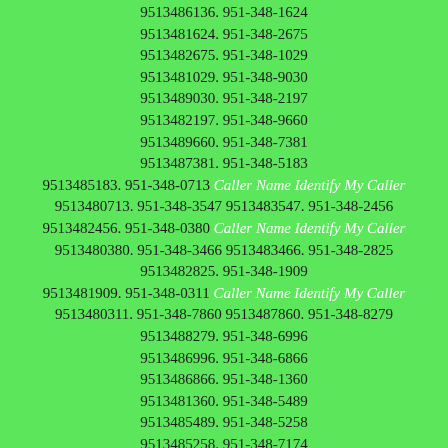9513486136. 951-348-1624 9513481624. 951-348-2675 9513482675. 951-348-1029 9513481029. 951-348-9030 9513489030. 951-348-2197 9513482197. 951-348-9660 9513489660. 951-348-7381 9513487381. 951-348-5183 9513485183. 951-348-0713 Caller Name Identify My Caller 9513480713. 951-348-3547 9513483547. 951-348-2456 9513482456. 951-348-0380 Caller Name Identify My Caller 9513480380. 951-348-3466 9513483466. 951-348-2825 9513482825. 951-348-1909 9513481909. 951-348-0311 Caller Name Identify My Caller 9513480311. 951-348-7860 9513487860. 951-348-8279 9513488279. 951-348-6996 9513486996. 951-348-6866 9513486866. 951-348-1360 9513481360. 951-348-5489 9513485489. 951-348-5258 9513485258. 951-348-7174 9513487174. 951-348-5191